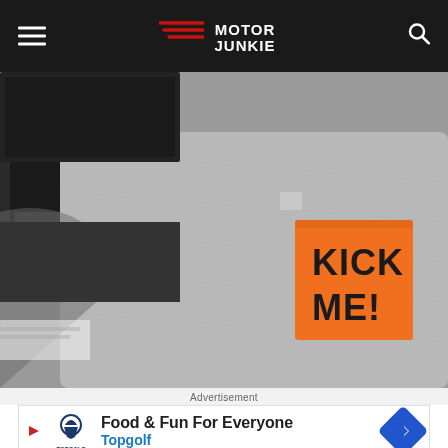Motor Junkie
[Figure (photo): Person typing on a laptop, wearing a grey blazer with an orange sticky note reading 'KICK ME!' stuck to their back.]
Advertisement
[Figure (infographic): Topgolf advertisement banner: 'Food & Fun For Everyone' with Topgolf logo and blue diamond arrow icon.]